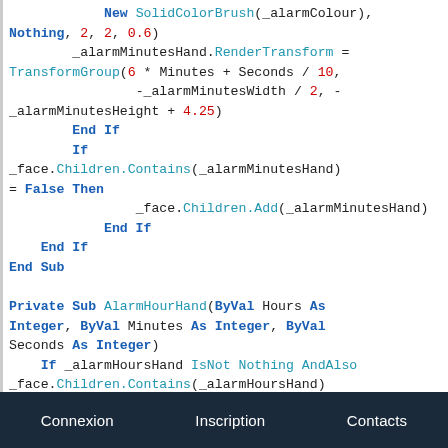New SolidColorBrush(_alarmColour), Nothing, 2, 2, 0.6)
        _alarmMinutesHand.RenderTransform = TransformGroup(6 * Minutes + Seconds / 10,
                -_alarmMinutesWidth / 2, -_alarmMinutesHeight + 4.25)
        End If
        If _face.Children.Contains(_alarmMinutesHand) = False Then
                _face.Children.Add(_alarmMinutesHand)
            End If
    End If
End Sub

Private Sub AlarmHourHand(ByVal Hours As Integer, ByVal Minutes As Integer, ByVal Seconds As Integer)
    If _alarmHoursHand IsNot Nothing AndAlso _face.Children.Contains(_alarmHoursHand) Then
        _face.Children.Remove(_alarmHoursHand)
    End If
    If hasAlarm Then
Connexion    Inscription    Contacts